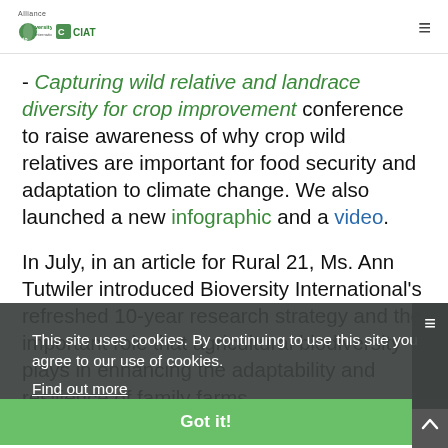Alliance | Bioversity International + CIAT logo and navigation
- Capturing wild relative and landrace diversity for crop improvement conference to raise awareness of why crop wild relatives are important for food security and adaptation to climate change. We also launched a new infographic and a video.
In July, in an article for Rural 21, Ms. Ann Tutwiler introduced Bioversity International's refreshed 10-year research strategy and the important role that agricultural biodiversity plays in enhancing the adaptability and resilience of family farms.
This site uses cookies. By continuing to use this site you agree to our use of cookies. Find out more
Got it!